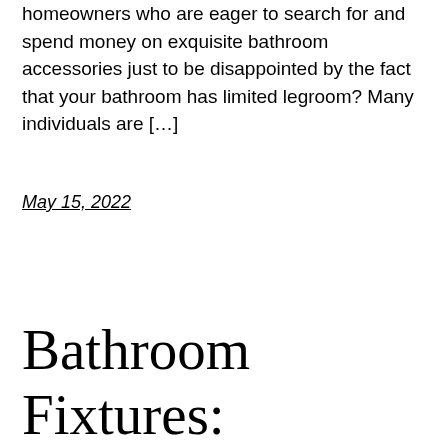homeowners who are eager to search for and spend money on exquisite bathroom accessories just to be disappointed by the fact that your bathroom has limited legroom? Many individuals are […]
May 15, 2022
Bathroom Fixtures: